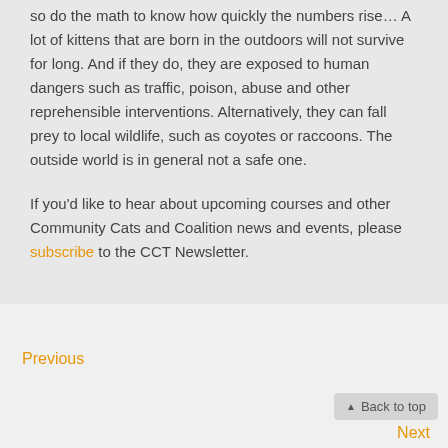so do the math to know how quickly the numbers rise… A lot of kittens that are born in the outdoors will not survive for long. And if they do, they are exposed to human dangers such as traffic, poison, abuse and other reprehensible interventions. Alternatively, they can fall prey to local wildlife, such as coyotes or raccoons. The outside world is in general not a safe one.
If you'd like to hear about upcoming courses and other Community Cats and Coalition news and events, please subscribe to the CCT Newsletter.
Previous
▲ Back to top
Next